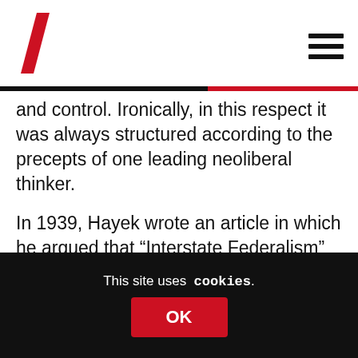Logo and navigation header
and control. Ironically, in this respect it was always structured according to the precepts of one leading neoliberal thinker.
In 1939, Hayek wrote an article in which he argued that “Interstate Federalism” at the European level would be desirable. Why? Mainly because it would ensure that economic activity should be removed as far as possible from the responsibility of
This site uses cookies.
OK